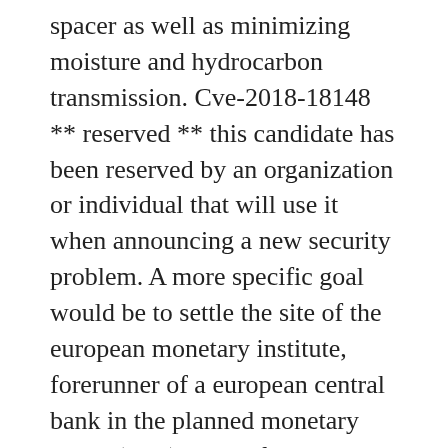spacer as well as minimizing moisture and hydrocarbon transmission. Cve-2018-18148 ** reserved ** this candidate has been reserved by an organization or individual that will use it when announcing a new security problem. A more specific goal would be to settle the site of the european monetary institute, forerunner of a european central bank in the planned monetary union (emu). Perky female minion: she's been this to taryn terrell and awesome kong. Water main break snarls upper west side subway service it happened at around 7:50 a.m. at 103rd street and central park west. The influence of choral works by canadian women on senior female composers in interior it...